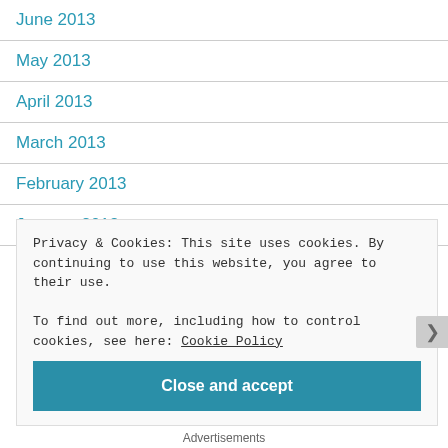June 2013
May 2013
April 2013
March 2013
February 2013
January 2013
Privacy & Cookies: This site uses cookies. By continuing to use this website, you agree to their use.
To find out more, including how to control cookies, see here: Cookie Policy
Close and accept
Advertisements